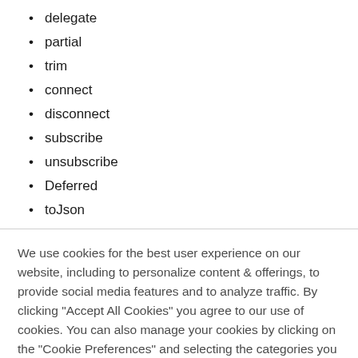delegate
partial
trim
connect
disconnect
subscribe
unsubscribe
Deferred
toJson
We use cookies for the best user experience on our website, including to personalize content & offerings, to provide social media features and to analyze traffic. By clicking "Accept All Cookies" you agree to our use of cookies. You can also manage your cookies by clicking on the "Cookie Preferences" and selecting the categories you would like to accept. For more information on how we use cookies please visit our Cookie Statement and Privacy Statement
Cookie Preferences
Accept All Cookies